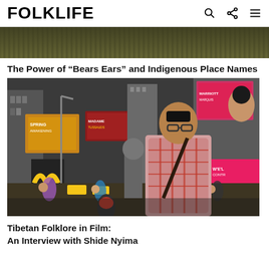FOLKLIFE
[Figure (photo): Top cropped landscape/nature photo showing dark green vegetation against a murky background]
The Power of “Bears Ears” and Indigenous Place Names
[Figure (photo): A man in a red plaid shirt with a crossbody bag stands in Times Square, New York City, surrounded by crowds, billboards, and yellow taxis]
Tibetan Folklore in Film:
An Interview with Shide Nyima